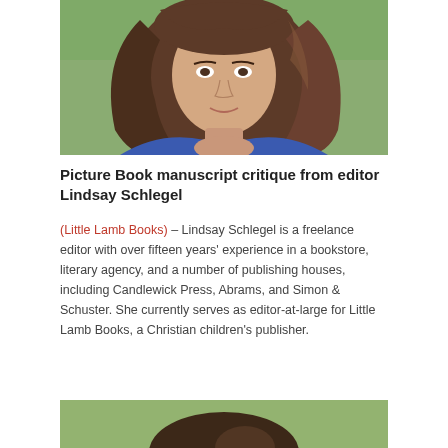[Figure (photo): Photo of Lindsay Schlegel, a woman with long brown wavy hair wearing a blue top, photographed outdoors with a green background. Only the head/upper chest area is visible as it is cropped.]
Picture Book manuscript critique from editor Lindsay Schlegel
(Little Lamb Books) – Lindsay Schlegel is a freelance editor with over fifteen years' experience in a bookstore, literary agency, and a number of publishing houses, including Candlewick Press, Abrams, and Simon & Schuster. She currently serves as editor-at-large for Little Lamb Books, a Christian children's publisher.
[Figure (photo): Bottom portion of another photo showing the top of a person's head with dark hair, photographed outdoors with a green background. The photo is cropped at the bottom of the page.]